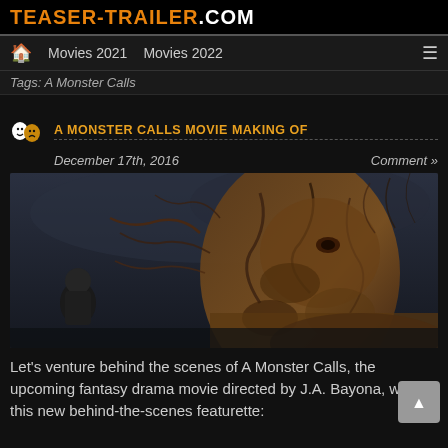TEASER-TRAILER.COM
Movies 2021   Movies 2022
Tags: A Monster Calls
A MONSTER CALLS MOVIE MAKING OF
December 17th, 2016
Comment »
[Figure (photo): Behind-the-scenes still from A Monster Calls showing a boy facing a large tree-monster creature against a dark moody background]
Let's venture behind the scenes of A Monster Calls, the upcoming fantasy drama movie directed by J.A. Bayona, with this new behind-the-scenes featurette: